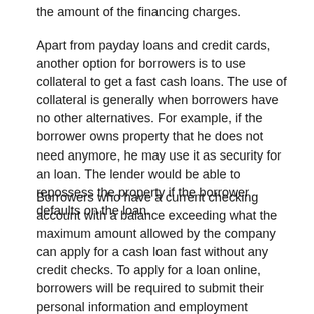the amount of the financing charges.
Apart from payday loans and credit cards, another option for borrowers is to use collateral to get a fast cash loans. The use of collateral is generally when borrowers have no other alternatives. For example, if the borrower owns property that he does not need anymore, he may use it as security for an loan. The lender would be able to repossess the property if the borrower defaults on the loan.
Borrowers who have a current checking account with a balance exceeding what the maximum amount allowed by the company can apply for a cash loan fast without any credit checks. To apply for a loan online, borrowers will be required to submit their personal information and employment background. These documents will be needed in order to determine the amount of the loan that can